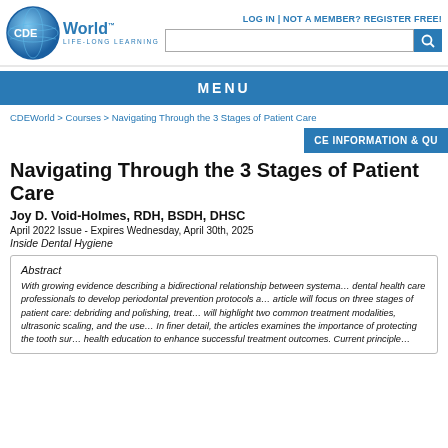LOG IN | NOT A MEMBER? REGISTER FREE!
[Figure (logo): CDEWorld Life-Long Learning logo with blue globe icon]
MENU
CDEWorld > Courses > Navigating Through the 3 Stages of Patient Care
CE INFORMATION & QU
Navigating Through the 3 Stages of Patient Care
Joy D. Void-Holmes, RDH, BSDH, DHSC
April 2022 Issue - Expires Wednesday, April 30th, 2025
Inside Dental Hygiene
Abstract
With growing evidence describing a bidirectional relationship between systema... dental health care professionals to develop periodontal prevention protocols a... article will focus on three stages of patient care: debriding and polishing, treat... will highlight two common treatment modalities, ultrasonic scaling, and the use... In finer detail, the articles examines the importance of protecting the tooth sur... health education to enhance successful treatment outcomes. Current principle...